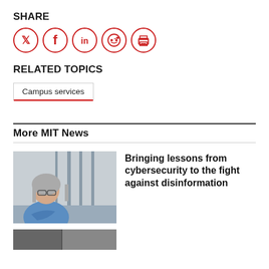SHARE
[Figure (infographic): Social share icons: Twitter, Facebook, LinkedIn, Reddit, Print — all in red circle outlines]
RELATED TOPICS
Campus services
More MIT News
[Figure (photo): Person with long gray hair and glasses, wearing a blue shirt, standing in a modern building interior with arms crossed]
Bringing lessons from cybersecurity to the fight against disinformation
[Figure (photo): Partially visible photo at bottom of page]